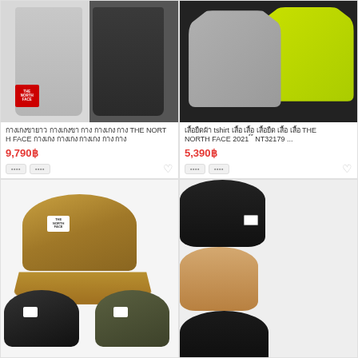[Figure (photo): Two pairs of The North Face pants in light gray and dark charcoal/black colors displayed side by side with TNF logo badge visible]
กางเกงขา THE NORTH FACE กางเกง กางเกง กางเกง กางเกง
9,790฿
[Figure (photo): Two The North Face t-shirts in gray and yellow-green colors overlapping against dark background]
เสื้อยืด tshirt THE NORTH FACE 2021 ์ ์ NT32179 ...
5,390฿
[Figure (photo): Three The North Face baseball caps in tan/brown, black, and olive/dark green colors with white logo patch]
[Figure (photo): Six The North Face bucket hats in black, tan, black, green, olive, and dark olive colors with white label patch]